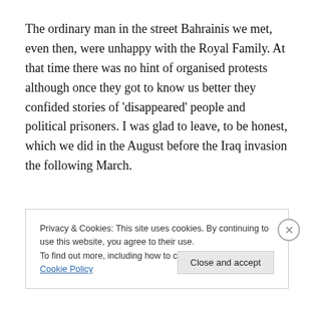The ordinary man in the street Bahrainis we met, even then, were unhappy with the Royal Family. At that time there was no hint of organised protests although once they got to know us better they confided stories of 'disappeared' people and political prisoners. I was glad to leave, to be honest, which we did in the August before the Iraq invasion the following March.
Privacy & Cookies: This site uses cookies. By continuing to use this website, you agree to their use. To find out more, including how to control cookies, see here: Cookie Policy